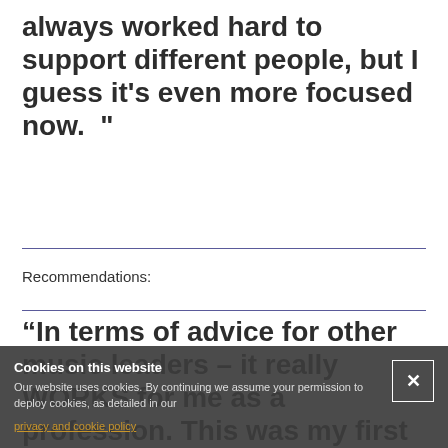always worked hard to support different people, but I guess it's even more focused now. "
Recommendations:
“In terms of advice for other music leaders – it really WORKS for me as a profession. This was my first ever job. I’m holding onto it because of how hard I worked to get into it in the first place.
Cookies on this website
Our website uses cookies. By continuing we assume your permission to deploy cookies, as detailed in our privacy and cookie policy